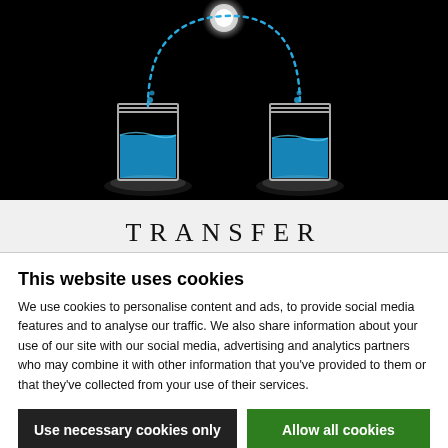[Figure (illustration): Dark/black background illustration showing two glass beakers with blue liquid, connected by a dotted blue arc indicating fluid transfer. A glowing orb at the top center of the arc, and glowing light pools under each beaker.]
TRANSFER
Transfer is moving fluid from one place to another. Additional pressure may be required to prepare the
This website uses cookies
We use cookies to personalise content and ads, to provide social media features and to analyse our traffic. We also share information about your use of our site with our social media, advertising and analytics partners who may combine it with other information that you've provided to them or that they've collected from your use of their services.
Use necessary cookies only
Allow all cookies
Show details